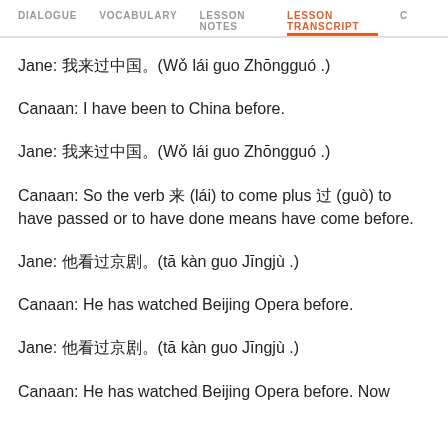DIALOGUE  VOCABULARY  LESSON NOTES  LESSON TRANSCRIPT  C
Jane: 我来过中国。(Wǒ lái guo Zhōngguó .)
Canaan: I have been to China before.
Jane: 我来过中国。(Wǒ lái guo Zhōngguó .)
Canaan: So the verb 来 (lái) to come plus 过 (guò) to have passed or to have done means have come before.
Jane: 他看过京剧。(tā kàn guo Jīngjù .)
Canaan: He has watched Beijing Opera before.
Jane: 他看过京剧。(tā kàn guo Jīngjù .)
Canaan: He has watched Beijing Opera before. Now